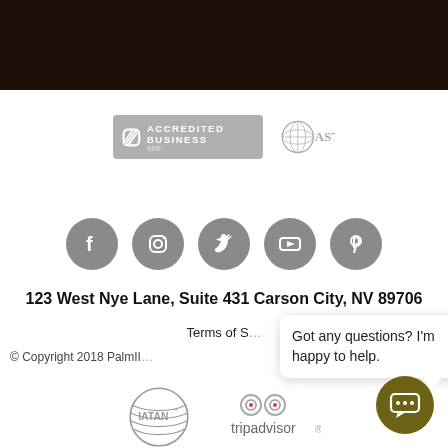[Figure (other): Dark brown/black decorative header banner]
[Figure (logo): BBB Accredited Business badge (gray) and ASTA globe logo (gray)]
[Figure (other): Row of 5 social media icons (Facebook, Instagram, Twitter, YouTube, Pinterest) in gray circles]
123 West Nye Lane, Suite 431 Carson City, NV 89706
Terms of S...
© Copyright 2018 PalmII...
[Figure (other): Chat popup bubble saying Got any questions? I'm happy to help. with X close button]
[Figure (logo): IATAN logo and TripAdvisor logo at bottom]
[Figure (other): Olive-green chat button icon at bottom right]